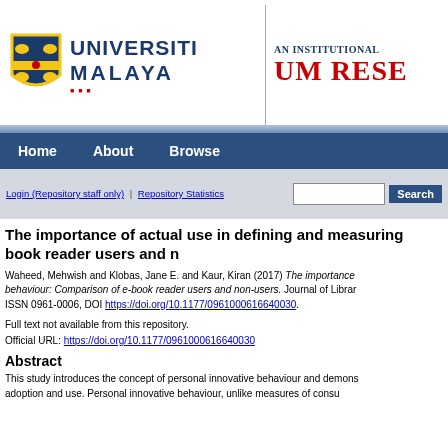[Figure (logo): Universiti Malaya logo with shield and text, and UM Research repository banner on the right]
Home  About  Browse
Login (Repository staff only) | Repository Statistics  [Search box] Search
The importance of actual use in defining and measuring book reader users and n...
Waheed, Mehwish and Klobas, Jane E. and Kaur, Kiran (2017) The importance of ... behaviour: Comparison of e-book reader users and non-users. Journal of Librar... ISSN 0961-0006, DOI https://doi.org/10.1177/0961000616640030.
Full text not available from this repository.
Official URL: https://doi.org/10.1177/0961000616640030
Abstract
This study introduces the concept of personal innovative behaviour and demonstrates its role in e-book adoption and use. Personal innovative behaviour, unlike measures of cons...